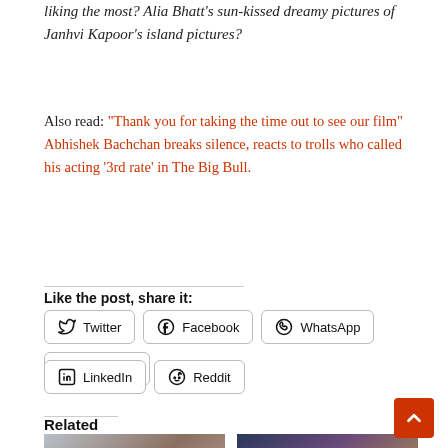liking the most? Alia Bhatt's sun-kissed dreamy pictures of Janhvi Kapoor's island pictures?
Also read: "Thank you for taking the time out to see our film" Abhishek Bachchan breaks silence, reacts to trolls who called his acting '3rd rate' in The Big Bull.
Like the post, share it:
Twitter
Facebook
WhatsApp
Telegram
LinkedIn
Reddit
Related
[Figure (photo): Two related article thumbnail images side by side]
[Figure (other): Red scroll-to-top button with upward chevron]